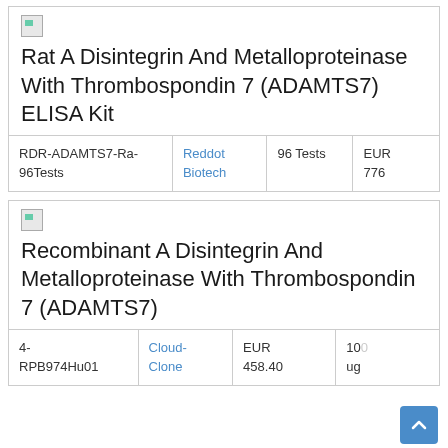Rat A Disintegrin And Metalloproteinase With Thrombospondin 7 (ADAMTS7) ELISA Kit
|  |  |  |  |
| --- | --- | --- | --- |
| RDR-ADAMTS7-Ra-96Tests | Reddot Biotech | 96 Tests | EUR 776 |
Recombinant A Disintegrin And Metalloproteinase With Thrombospondin 7 (ADAMTS7)
|  |  |  |  |
| --- | --- | --- | --- |
| 4-RPB974Hu01 | Cloud-Clone | EUR 458.40 | 100 ug |